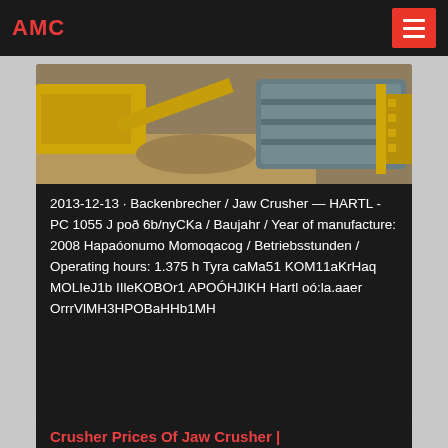AMC
[Figure (photo): Industrial machinery photo showing jaw crusher / construction equipment with yellow machinery and a large cylindrical drum/tank structure]
2013-12-13 · Backenbrecher / Jaw Crusher — HARTL - PC 1055 J роð 6b/nyCKa / Baujahr / Year of manufacture: 2008 Hapaóonumo Momoqacog / Betriebsstunden / Operating hours: 1.375 h Tyra caMa51 KOM11aKrHaq MOLIeJ1b IIleKOBOr1 APOÓHJIKH Hartl oó:la.aaer OrrrVlMH3HPOBaHHb1MH
Crusher Prices Of Jaw Crusher | Crusher Mills, Cone